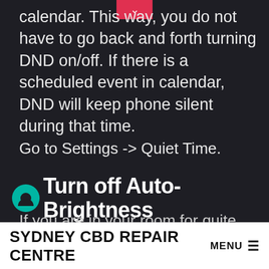calendar. This way, you do not have to go back and forth turning DND on/off. If there is a scheduled event in calendar, DND will keep phone silent during that time.
Go to Settings -> Quiet Time.
Turn off Auto-Brightness
If you are in your room for quite some time or outside for hours, you may never want to activate auto-brightness. This uses processing power and the ambient light
SYDNEY CBD REPAIR CENTRE MENU ≡